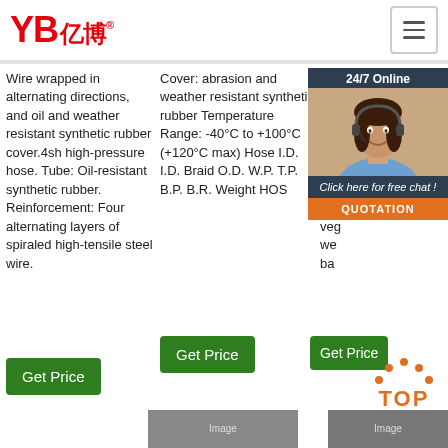[Figure (logo): YB亿博 logo in red with registered trademark symbol]
[Figure (illustration): Hamburger menu icon button in top right corner]
Wire wrapped in alternating directions, and oil and weather resistant synthetic rubber cover.4sh high-pressure hose. Tube: Oil-resistant synthetic rubber. Reinforcement: Four alternating layers of spiraled high-tensile steel wire.
Cover: abrasion and weather resistant synthetic rubber Temperature Range: -40°C to +100°C (+120°C max) Hose I.D. I.D. Braid O.D. W.P. T.P. B.P. B.R. Weight HOS
bend radius lower tha… Sta… Co… bio… hyd… sy… pol… veg… we… ba…
[Figure (illustration): 24/7 Online chat widget with customer service photo, Click here for free chat text, and QUOTATION button]
Get Price
Get Price
Get Price
[Figure (illustration): TOP button icon with orange dots and TOP text]